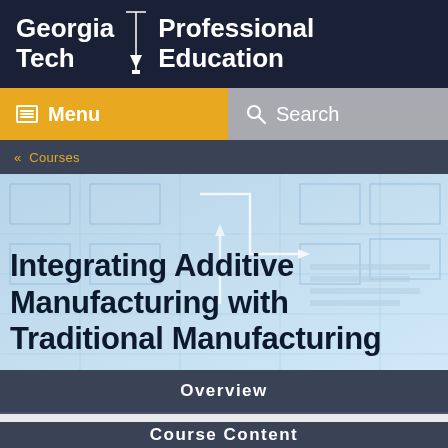Georgia Tech Professional Education
Menu
Search
« Courses
Integrating Additive Manufacturing with Traditional Manufacturing
Overview
Course Content